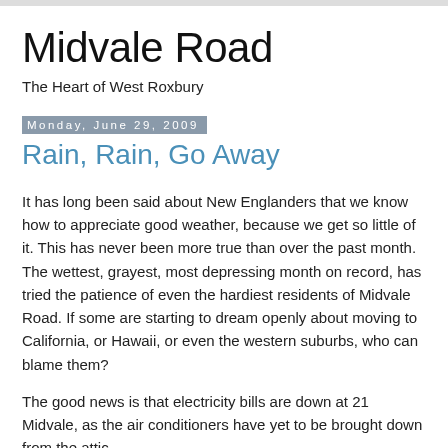Midvale Road
The Heart of West Roxbury
Monday, June 29, 2009
Rain, Rain, Go Away
It has long been said about New Englanders that we know how to appreciate good weather, because we get so little of it. This has never been more true than over the past month. The wettest, grayest, most depressing month on record, has tried the patience of even the hardiest residents of Midvale Road. If some are starting to dream openly about moving to California, or Hawaii, or even the western suburbs, who can blame them?
The good news is that electricity bills are down at 21 Midvale, as the air conditioners have yet to be brought down from the attic.